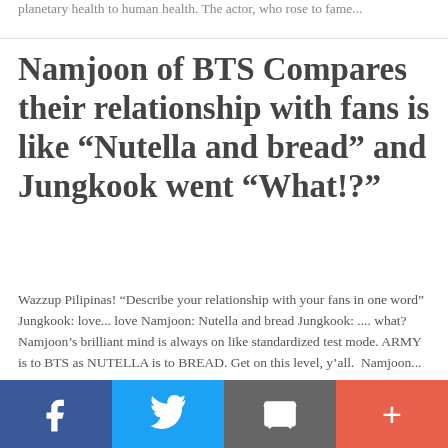planetary health to human health. The actor, who rose to fame...
Namjoon of BTS Compares their relationship with fans is like “Nutella and bread” and Jungkook went “What!?”
Wazzup Pilipinas! “Describe your relationship with your fans in one word” Jungkook: love... love Namjoon: Nutella and bread Jungkook: .... what? Namjoon’s brilliant mind is always on like standardized test mode. ARMY is to BTS as NUTELLA is to BREAD. Get on this level, y’all.  Namjoon...
[Figure (other): Social media share bar with Facebook, Twitter, Email, and More (+) buttons]